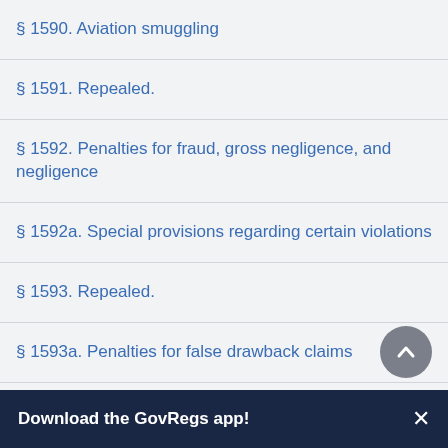§ 1590. Aviation smuggling
§ 1591. Repealed.
§ 1592. Penalties for fraud, gross negligence, and negligence
§ 1592a. Special provisions regarding certain violations
§ 1593. Repealed.
§ 1593a. Penalties for false drawback claims
§ 1594. Seizure of conveyances
Download the GovRegs app!